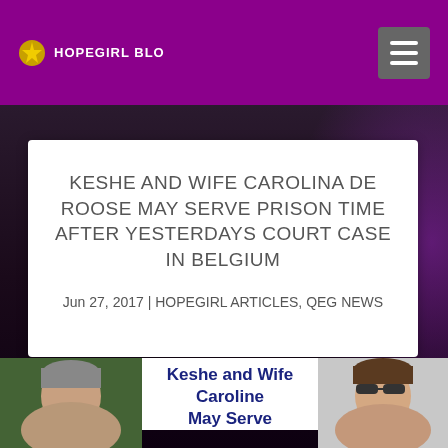HOPEGIRL BLO
KESHE AND WIFE CAROLINA DE ROOSE MAY SERVE PRISON TIME AFTER YESTERDAYS COURT CASE IN BELGIUM
Jun 27, 2017 | HOPEGIRL ARTICLES, QEG NEWS
[Figure (photo): Photo of a man with grey hair outdoors]
Keshe and Wife Caroline May Serve
[Figure (photo): Photo of a woman with sunglasses on forehead]